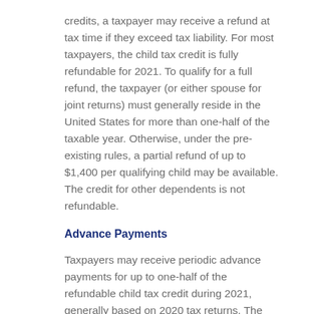credits, a taxpayer may receive a refund at tax time if they exceed tax liability. For most taxpayers, the child tax credit is fully refundable for 2021. To qualify for a full refund, the taxpayer (or either spouse for joint returns) must generally reside in the United States for more than one-half of the taxable year. Otherwise, under the pre-existing rules, a partial refund of up to $1,400 per qualifying child may be available. The credit for other dependents is not refundable.
Advance Payments
Taxpayers may receive periodic advance payments for up to one-half of the refundable child tax credit during 2021, generally based on 2020 tax returns. The U.S. Treasury will make the payments for periods between July 1 and December 31, 2021. For example, monthly payments could be up to $250 per qualifying child ($300 per qualifying child under age 6).